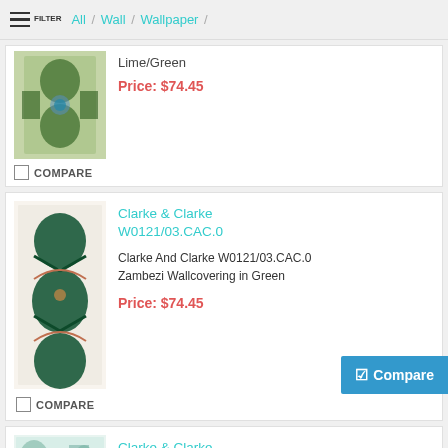All / Wall / Wallpaper /
[Figure (photo): Partial product image showing green/lime patterned wallpaper with mirrored animal motif]
Lime/Green
Price: $74.45
COMPARE
[Figure (photo): Clarke & Clarke Zambezi wallcovering product image in green, showing mirrored elephant and tropical motif pattern]
Clarke & Clarke W0121/03.CAC.0
Clarke And Clarke W0121/03.CAC.0 Zambezi Wallcovering in Green
Price: $74.45
COMPARE
[Figure (photo): Clarke & Clarke W0080/05.CAC.0 product image showing teal/green scenic wallcovering]
Clarke & Clarke W0080/05.CAC.0
Clarke And Clarke W0080/05.CAC.0